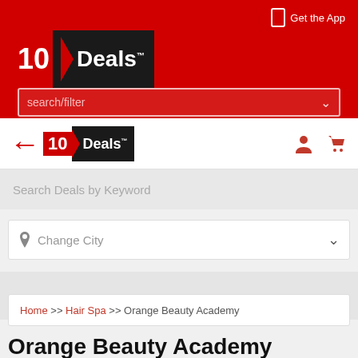Get the App
[Figure (logo): 10 Deals logo in red banner header]
Search (city dropdown)
[Figure (logo): 10 Deals logo in white nav bar with back arrow]
Search Deals by Keyword
Change City
Home >> Hair Spa >> Orange Beauty Academy
Orange Beauty Academy